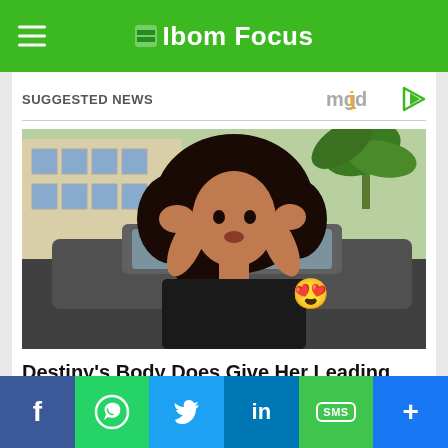Ibom Focus
SUGGESTED NEWS
[Figure (photo): Young woman with curly hair posing in front of a car, wearing a black top, with a heart-eyes emoji overlay]
Destiny's Body Does Give Her Leading Lady Energy!
HERBEAUTY
[Figure (photo): Partial view of second news card image]
Share buttons: Facebook, WhatsApp, Twitter, LinkedIn, SMS, More